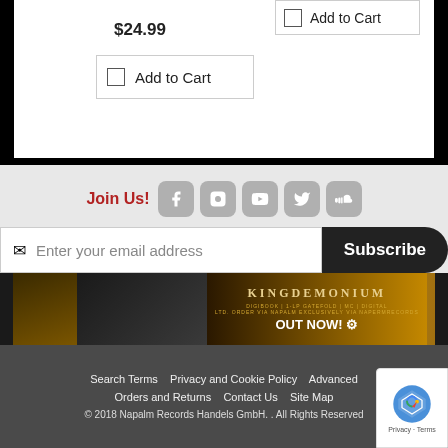$24.99
Add to Cart
Add to Cart
Join Us!
Enter your email address
Subscribe
[Figure (infographic): Hammer King - King Demonium album banner ad. Shows album art, band photo, title HAMMER KING, KINGDEMONIUM text, OUT NOW! call to action]
Search Terms   Privacy and Cookie Policy   Advanced
Orders and Returns   Contact Us   Site Map
© 2018 Napalm Records Handels GmbH. . All Rights Reserved